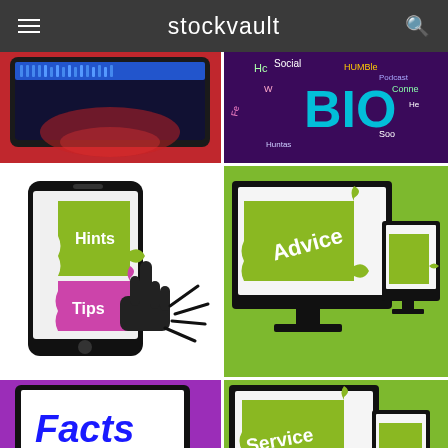stockvault
[Figure (screenshot): Stockvault website header with hamburger menu, stockvault logo, and search icon on dark gray background]
[Figure (photo): Red tablet/laptop device with dark screen showing blue bar]
[Figure (photo): Purple word cloud background with BIO text and social media related words]
[Figure (illustration): Smartphone showing green Hints and pink Tips puzzle pieces, with hand cursor pointing]
[Figure (illustration): Multiple computer monitors on green background showing Advice puzzle pieces]
[Figure (illustration): Laptop on purple background showing Facts text in blue bold font on white screen]
[Figure (illustration): Multiple computer monitors on green background showing Service puzzle pieces]